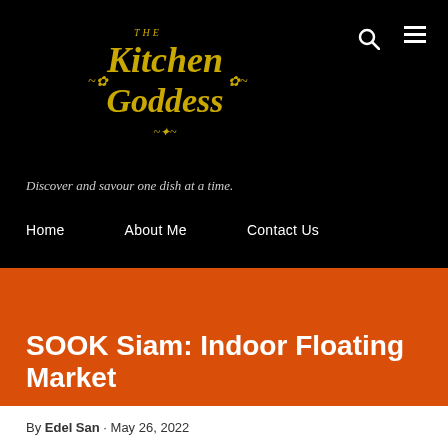[Figure (logo): The Kitchen Goddess logo in gold cursive script on black background]
Discover and savour one dish at a time.
Home   About Me   Contact Us
SOOK Siam: Indoor Floating Market
By Edel San · May 26, 2022